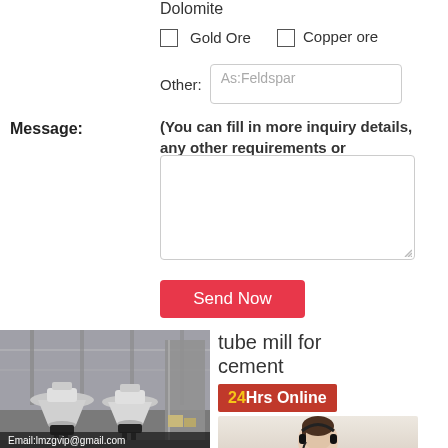Dolomite
☐ Gold Ore   ☐ Copper ore
Other: As:Feldspar
Message: (You can fill in more inquiry details, any other requirements or questions.)
Send Now
[Figure (photo): Industrial machinery (cone crushers) in a factory warehouse. Email:lmzgvip@gmail.com overlay text.]
tube mill for cement
24Hrs Online